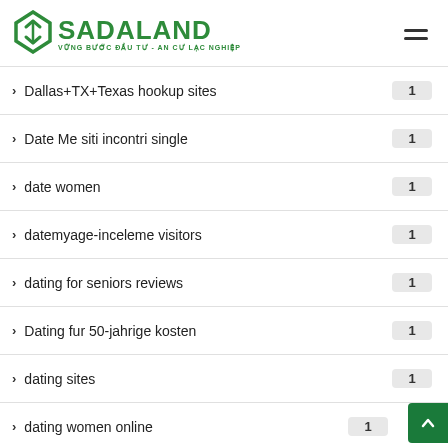SADALAND — VỮNG BƯỚC ĐẦU TƯ - AN CƯ LẠC NGHIỆP
Dallas+TX+Texas hookup sites — 1
Date Me siti incontri single — 1
date women — 1
datemyage-inceleme visitors — 1
dating for seniors reviews — 1
Dating fur 50-jahrige kosten — 1
dating sites — 1
dating women online — 1